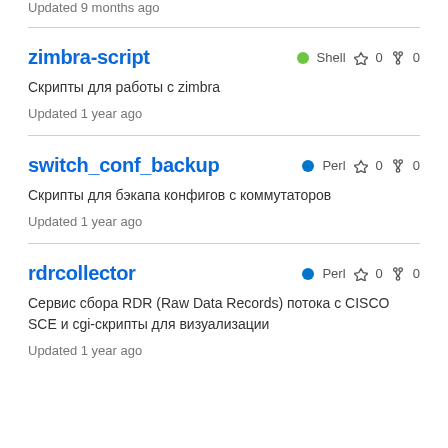Updated 9 months ago
zimbra-script
Скрипты для работы с zimbra
Updated 1 year ago
switch_conf_backup
Скрипты для бэкапа конфигов с коммутаторов
Updated 1 year ago
rdrcollector
Сервис сбора RDR (Raw Data Records) потока с CISCO SCE и cgi-скрипты для визуализации
Updated 1 year ago